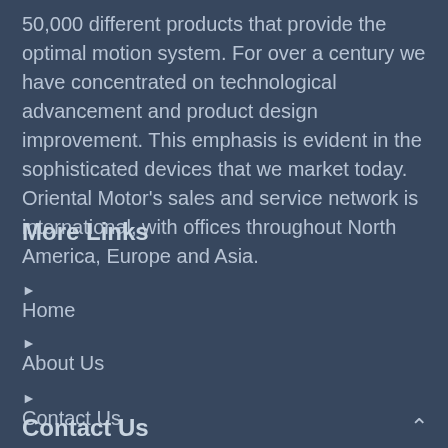50,000 different products that provide the optimal motion system. For over a century we have concentrated on technological advancement and product design improvement. This emphasis is evident in the sophisticated devices that we market today. Oriental Motor's sales and service network is international, with offices throughout North America, Europe and Asia.
More Links
Home
About Us
Contact Us
Contact Us